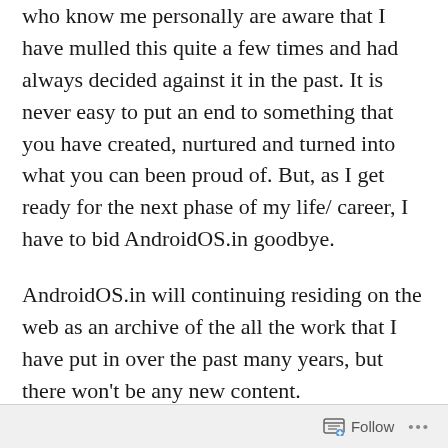who know me personally are aware that I have mulled this quite a few times and had always decided against it in the past. It is never easy to put an end to something that you have created, nurtured and turned into what you can been proud of. But, as I get ready for the next phase of my life/ career, I have to bid AndroidOS.in goodbye.
AndroidOS.in will continuing residing on the web as an archive of the all the work that I have put in over the past many years, but there won't be any new content.
Follow ···